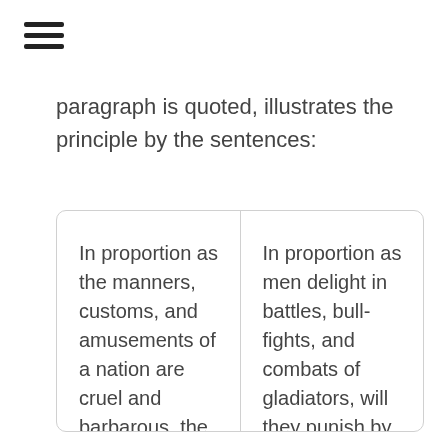☰
paragraph is quoted, illustrates the principle by the sentences:
| Column 1 | Column 2 |
| --- | --- |
| In proportion as the manners, customs, and amusements of a nation are cruel and barbarous, the regulations of their penal code will be severe. | In proportion as men delight in battles, bull-fights, and combats of gladiators, will they punish by hanging, burning, and the rack. |